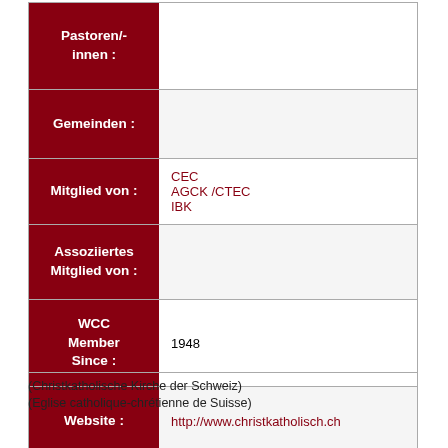| Field | Value |
| --- | --- |
| Pastoren/-innen : |  |
| Gemeinden : |  |
| Mitglied von : | CEC
AGCK /CTEC
IBK |
| Assoziiertes Mitglied von : |  |
| WCC Member Since : | 1948 |
| Website : | http://www.christkatholisch.ch |
(Christkatholische Kirche der Schweiz)
(Eglise catholique-chrétienne de Suisse)